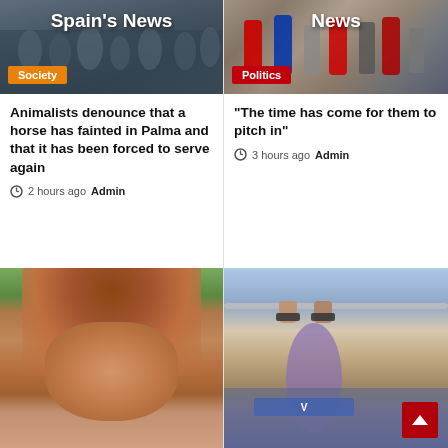[Figure (photo): Crowd scene with Spain News header overlay, Society badge]
[Figure (photo): Press conference with microphones, News header overlay, Politics badge]
Animalists denounce that a horse has fainted in Palma and that it has been forced to serve again
2 hours ago Admin
"The time has come for them to pitch in"
3 hours ago Admin
[Figure (photo): Woman with auburn hair, outdoor background]
[Figure (photo): Athlete doing pull-ups at outdoor event with crowd]